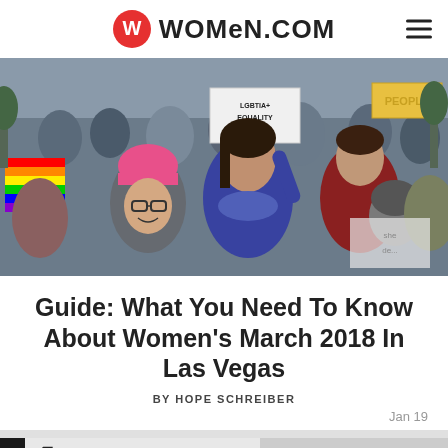WOMEN.COM
[Figure (photo): Crowd of protesters at Women's March, people wearing pink hats and holding signs including 'LGBTIA+ EQUALITY']
Guide: What You Need To Know About Women's March 2018 In Las Vegas
BY HOPE SCHREIBER
Jan 19
[Figure (photo): Close-up of protest sign reading "I'M WITH" with arrows, partially visible]